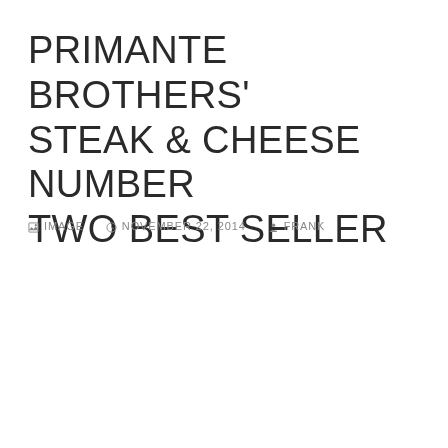PRIMANTE BROTHERS' STEAK & CHEESE NUMBER TWO BEST SELLER
IMAGE  NOVEMBER 22, 2014  FRANK